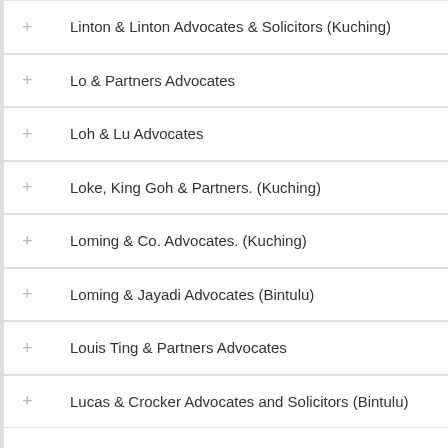Linton & Linton Advocates & Solicitors (Kuching)
Lo & Partners Advocates
Loh & Lu Advocates
Loke, King Goh & Partners. (Kuching)
Loming & Co. Advocates. (Kuching)
Loming & Jayadi Advocates (Bintulu)
Louis Ting & Partners Advocates
Lucas & Crocker Advocates and Solicitors (Bintulu)